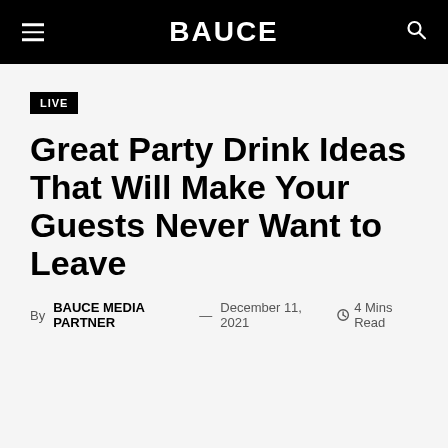BAUCE
LIVE
Great Party Drink Ideas That Will Make Your Guests Never Want to Leave
By BAUCE MEDIA PARTNER — December 11, 2021  4 Mins Read